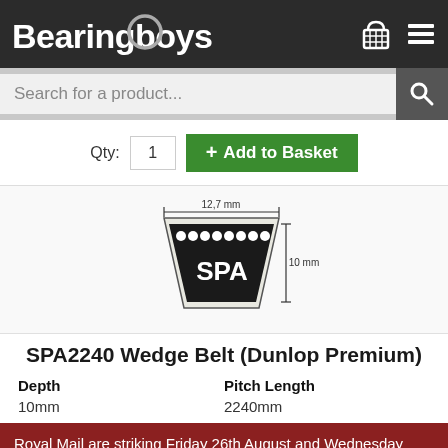Bearingboys
Search for a product...
Qty: 1  + Add to Basket
[Figure (engineering-diagram): SPA wedge belt cross-section diagram showing trapezoidal shape with dimensions: 12.7mm width at top, 10mm depth. Belt labeled SPA with cord cross-sections visible.]
SPA2240 Wedge Belt (Dunlop Premium)
| Depth | Pitch Length |
| --- | --- |
| 10mm | 2240mm |
Royal Mail are striking Friday 26th August and Wednesday 31st August. Our courier service is unaffected. Please select courier delivery if urgent.